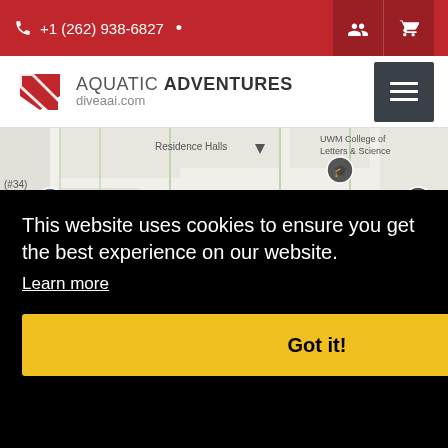+1 (262) 938-6827
[Figure (logo): Aquatic Adventures logo with red arrow dive flag and text 'AQUATIC ADVENTURES diveaai.com']
[Figure (map): Google Map showing University of Wisconsin-Milwaukee campus area with markers for Residence Halls, UWM College of Letters & Science, E Hartford Ave, Golda Meir Library, UWM Center for International Education]
This website uses cookies to ensure you get the best experience on our website.
Learn more
Got it!